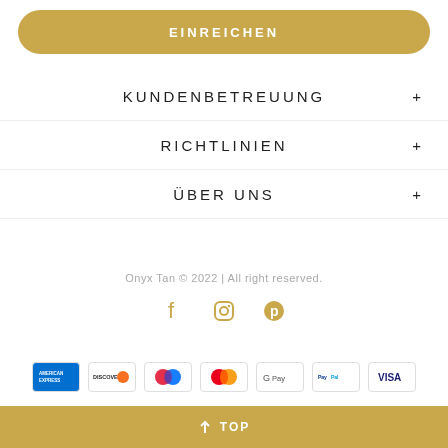[Figure (other): Gold rounded button with text EINREICHEN]
KUNDENBETREUUNG
RICHTLINIEN
ÜBER UNS
Onyx Tan © 2022 | All right reserved.
[Figure (other): Social media icons: Facebook, Instagram, Pinterest in gold color]
[Figure (other): Payment method icons: American Express, Discover, maestro, Mastercard, Google Pay, PayPal, Visa]
↑ TOP